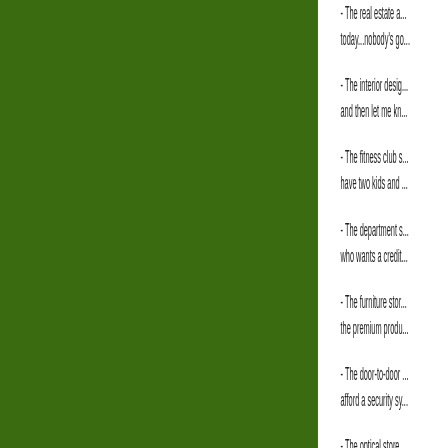- The real estate a... today...nobody's go...
- The interior desig... and then let me kn...
- The fitness club s... have two kids and ...
- The department s... who wants a credit...
- The furniture stor... the premium produ...
- The door-to-door ... afford a security sy...
- The optical store ... can't afford two pai...
You cannot predict...
If you're going to m... that your prospects... your hard work and... that you DESERVE...